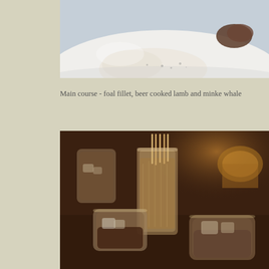[Figure (photo): Top portion of a food photograph showing what appears to be a plated dish with cream or foam and garnish on a white plate, partially visible]
Main course - foal fillet, beer cooked lamb and minke whale
[Figure (photo): Photograph of several glasses on a dark wooden table: a tall glass filled with what appears to be a layered drink with straws, a short shot glass, a wide-rimmed glass, and another glass in the background, all in warm dim lighting]